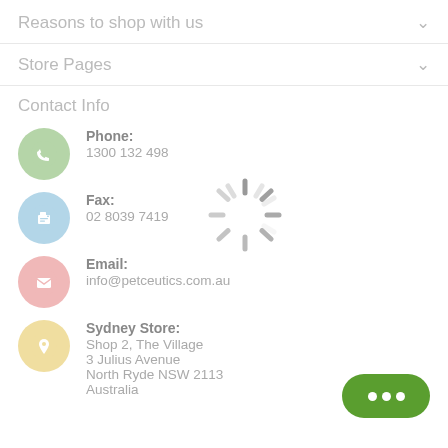Reasons to shop with us
Store Pages
Contact Info
Phone: 1300 132 498
Fax: 02 8039 7419
[Figure (other): Loading spinner/throbber animation indicator]
Email: info@petceutics.com.au
Sydney Store: Shop 2, The Village 3 Julius Avenue North Ryde NSW 2113 Australia
[Figure (other): Green rounded chat button with three white dots]